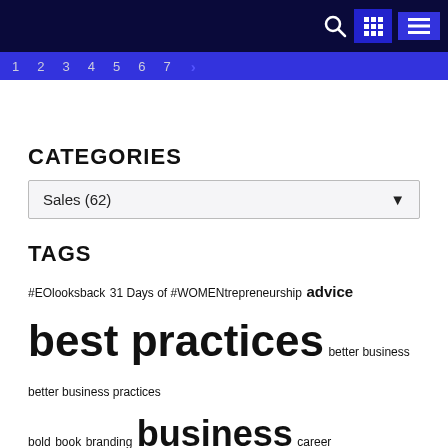Navigation header with search, grid, and menu icons
1 2 3 4 5 6 7 >
CATEGORIES
Sales (62)
TAGS
#EOlooksback 31 Days of #WOMENtrepreneurship advice best practices better business better business practices bold book branding business career company culture economy entrepreneur entrepreneurial journey